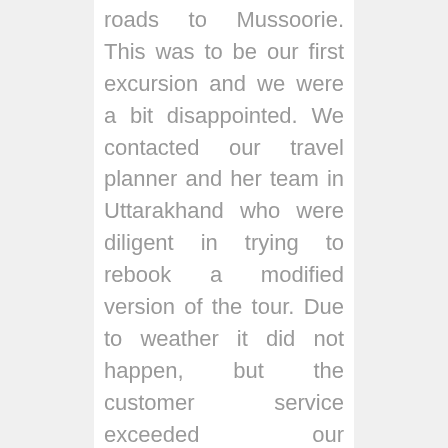roads to Mussoorie. This was to be our first excursion and we were a bit disappointed. We contacted our travel planner and her team in Uttarakhand who were diligent in trying to rebook a modified version of the tour. Due to weather it did not happen, but the customer service exceeded our expectations. The rest of our time went as planned with awe inspiring scenery from waterfalls, forest & himalayan views sites and relaxing daytrips to